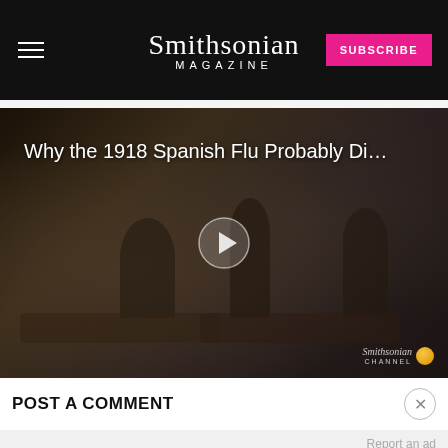Smithsonian MAGAZINE — SUBSCRIBE
[Figure (screenshot): Video thumbnail showing 1918 Spanish Flu historical footage with title 'Why the 1918 Spanish Flu Probably Di…' and a play button in the center. Smithsonian Channel branding in bottom right.]
POST A COMMENT
Report an ad
MOST POPULAR